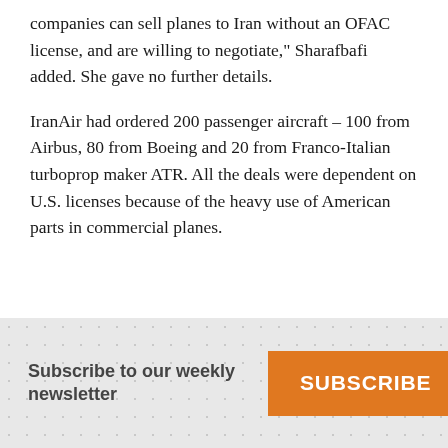companies can sell planes to Iran without an OFAC license, and are willing to negotiate," Sharafbafi added. She gave no further details.
IranAir had ordered 200 passenger aircraft – 100 from Airbus, 80 from Boeing and 20 from Franco-Italian turboprop maker ATR. All the deals were dependent on U.S. licenses because of the heavy use of American parts in commercial planes.
Subscribe to our weekly newsletter SUBSCRIBE